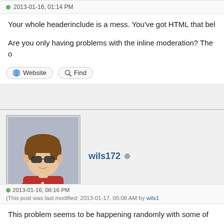2013-01-16, 01:14 PM
Your whole headerinclude is a mess. You've got HTML that bel
Are you only having problems with the inline moderation? The o
Website  Find
wils172 ●
2013-01-16, 08:16 PM (This post was last modified: 2013-01-17, 05:08 AM by wils1
This problem seems to be happening randomly with some of m time today not working (all the themes I've made never had a p
This is so weird.. all of my themes that use a popup box aren't they don't work..